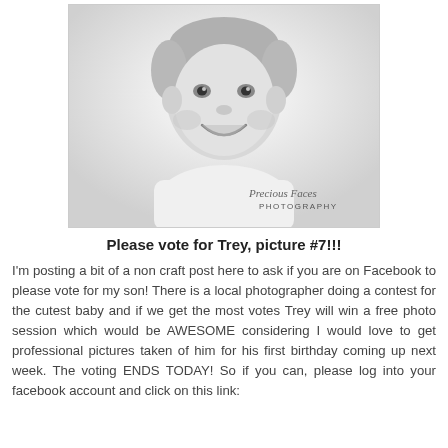[Figure (photo): Black and white portrait photo of a smiling baby with a watermark reading 'Precious Faces PHOTOGRAPHY' in the bottom right corner.]
Please vote for Trey, picture #7!!!
I'm posting a bit of a non craft post here to ask if you are on Facebook to please vote for my son! There is a local photographer doing a contest for the cutest baby and if we get the most votes Trey will win a free photo session which would be AWESOME considering I would love to get professional pictures taken of him for his first birthday coming up next week. The voting ENDS TODAY! So if you can, please log into your facebook account and click on this link: